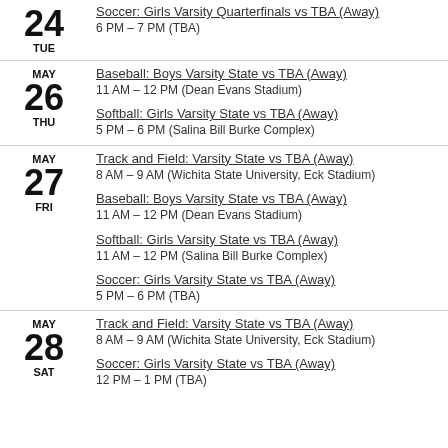24 TUE — Soccer: Girls Varsity Quarterfinals vs TBA (Away), 6 PM – 7 PM (TBA)
MAY 26 THU — Baseball: Boys Varsity State vs TBA (Away), 11 AM – 12 PM (Dean Evans Stadium); Softball: Girls Varsity State vs TBA (Away), 5 PM – 6 PM (Salina Bill Burke Complex)
MAY 27 FRI — Track and Field: Varsity State vs TBA (Away), 8 AM – 9 AM (Wichita State University, Eck Stadium); Baseball: Boys Varsity State vs TBA (Away), 11 AM – 12 PM (Dean Evans Stadium); Softball: Girls Varsity State vs TBA (Away), 11 AM – 12 PM (Salina Bill Burke Complex); Soccer: Girls Varsity State vs TBA (Away), 5 PM – 6 PM (TBA)
MAY 28 SAT — Track and Field: Varsity State vs TBA (Away), 8 AM – 9 AM (Wichita State University, Eck Stadium); Soccer: Girls Varsity State vs TBA (Away), 12 PM – 1 PM (TBA)